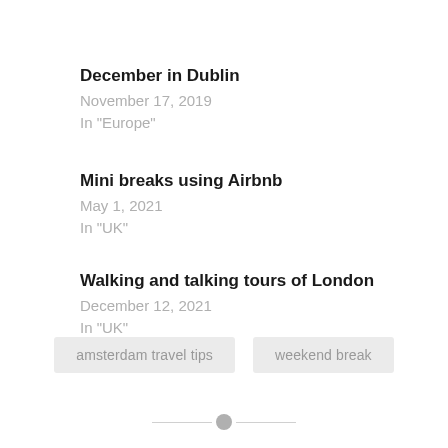December in Dublin
November 17, 2019
In "Europe"
Mini breaks using Airbnb
May 1, 2021
In "UK"
Walking and talking tours of London
December 12, 2021
In "UK"
amsterdam travel tips
weekend break